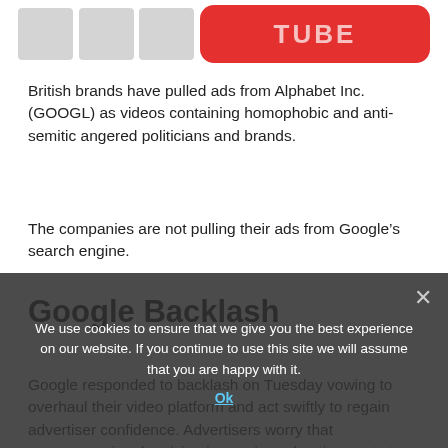[Figure (illustration): Partial view of logos at top of article page — gray square logos on left and a red rounded rectangle logo on right, partially cropped.]
British brands have pulled ads from Alphabet Inc. (GOOGL) as videos containing homophobic and anti-semitic angered politicians and brands.
The companies are not pulling their ads from Google’s search engine.
Google Backlash
Google responded to backlash on Tuesday vowing to overhaul their video platform and act swiftly to regain advertiser confidence. Advertisers worry that programmatic advertising is causing advertisements to be placed near hateful content with little control in the hands of the advertiser.
Automated ad placement is an integral part of Google’s brand. Experts fear that the company may lose revenue over the short-
We use cookies to ensure that we give you the best experience on our website. If you continue to use this site we will assume that you are happy with it.